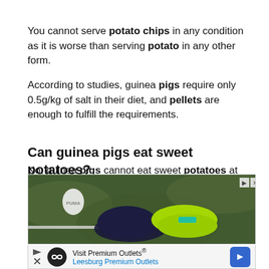You cannot serve potato chips in any condition as it is worse than serving potato in any other form.
According to studies, guinea pigs require only 0.5g/kg of salt in their diet, and pellets are enough to fulfill the requirements.
Can guinea pigs eat sweet potatoes?
No, guinea pigs cannot eat sweet potatoes at all.
[Figure (photo): Advertisement image showing Puma soccer cleats on green artificial turf grass, with ad controls (play/close buttons) in top right corner.]
[Figure (other): Advertisement banner for 'Visit Premium Outlets - Leesburg Premium Outlets' with infinity logo icon, play/close buttons, and blue navigation arrow on right.]